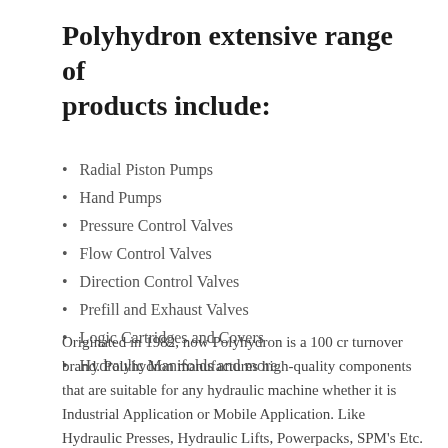Polyhydron extensive range of products include:
Radial Piston Pumps
Hand Pumps
Pressure Control Valves
Flow Control Valves
Direction Control Valves
Prefill and Exhaust Valves
Logic Cartridges and Covers
Hydraulic Manifolds and more
Originated in 1982, now Polyhydron is a 100 cr turnover brand. Polyhydron manufactures high-quality components that are suitable for any hydraulic machine whether it is Industrial Application or Mobile Application. Like Hydraulic Presses, Hydraulic Lifts, Powerpacks, SPM’s Etc.